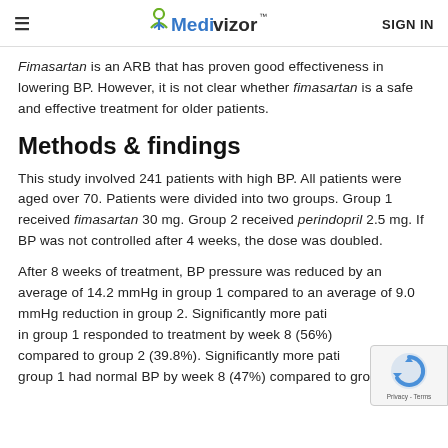≡   Medivizor™   SIGN IN
Fimasartan is an ARB that has proven good effectiveness in lowering BP. However, it is not clear whether fimasartan is a safe and effective treatment for older patients.
Methods & findings
This study involved 241 patients with high BP. All patients were aged over 70. Patients were divided into two groups. Group 1 received fimasartan 30 mg. Group 2 received perindopril 2.5 mg. If BP was not controlled after 4 weeks, the dose was doubled.
After 8 weeks of treatment, BP pressure was reduced by an average of 14.2 mmHg in group 1 compared to an average of 9.0 mmHg reduction in group 2. Significantly more patients in group 1 responded to treatment by week 8 (56%) compared to group 2 (39.8%). Significantly more patients in group 1 had normal BP by week 8 (47%) compared to group 2